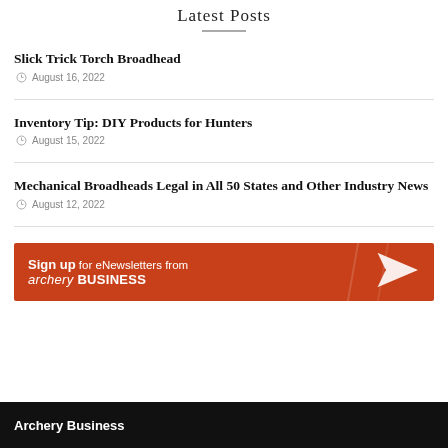Latest Posts
Slick Trick Torch Broadhead
August 16, 2022
Inventory Tip: DIY Products for Hunters
August 15, 2022
Mechanical Broadheads Legal in All 50 States and Other Industry News
August 12, 2022
[Figure (infographic): Sign up for eNewsletters from archery BUSINESS banner advertisement with orange background and paper airplane icon]
Archery Business